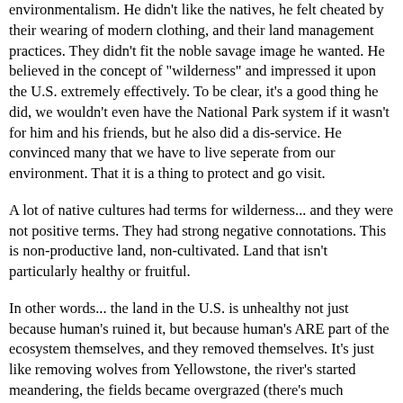environmentalism. He didn't like the natives, he felt cheated by their wearing of modern clothing, and their land management practices. They didn't fit the noble savage image he wanted. He believed in the concept of "wilderness" and impressed it upon the U.S. extremely effectively. To be clear, it's a good thing he did, we wouldn't even have the National Park system if it wasn't for him and his friends, but he also did a dis-service. He convinced many that we have to live seperate from our environment. That it is a thing to protect and go visit.
A lot of native cultures had terms for wilderness... and they were not positive terms. They had strong negative connotations. This is non-productive land, non-cultivated. Land that isn't particularly healthy or fruitful.
In other words... the land in the U.S. is unhealthy not just because human's ruined it, but because human's ARE part of the ecosystem themselves, and they removed themselves. It's just like removing wolves from Yellowstone, the river's started meandering, the fields became overgrazed (there's much research on this). Human's too are part of the ecosystem, and without it the things that we co-evolved with don't flourish.
The more you study these things, the more you realize that we are part of the equation, and just like sedge, or trees, we can make things